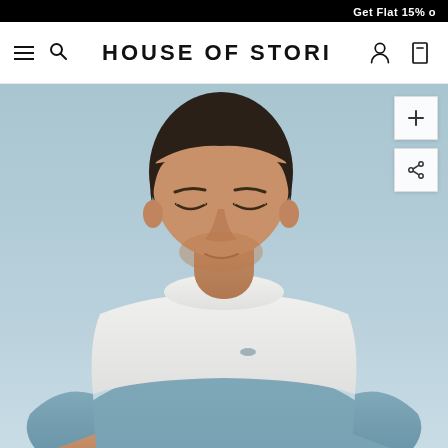Get Flat 15% o
HOUSE OF STORI
[Figure (photo): Male model wearing a two-tone color block t-shirt with white upper chest panel and dusty blue/slate lower body and sleeves, posed against a light blue background, looking downward.]